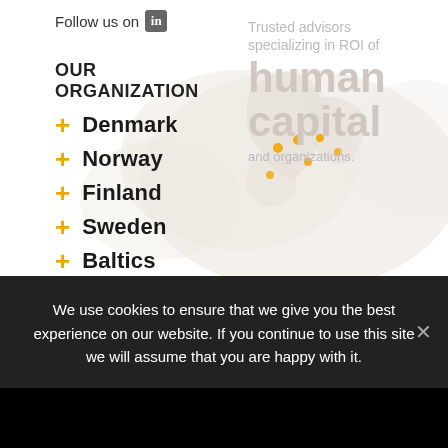Follow us on [LinkedIn]
OUR ORGANIZATION
+ Denmark
+ Norway
+ Finland
+ Sweden
+ Baltics
+ Germany
+ Italy
[Figure (map): Faded background map of Europe with location dots over Nordic/Baltic region]
Trusted advisors specializing in ROI of human capital and organizations.
We use cookies to ensure that we give you the best experience on our website. If you continue to use this site we will assume that you are happy with it.